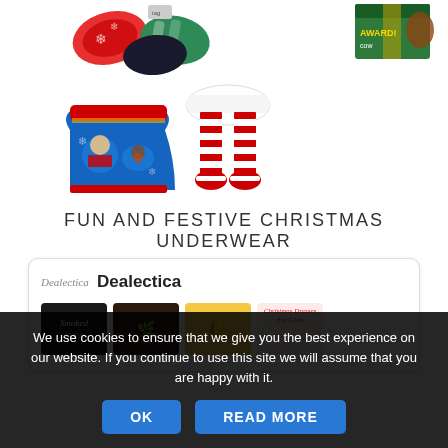[Figure (photo): Christmas underwear and socks product images: colorful holiday socks on top left, striped Santa legs/stockings in center, Christmas underwear pairs on left and right, holiday gift box on top right]
FUN AND FESTIVE CHRISTMAS UNDERWEAR
[Figure (screenshot): Dealectica content card with logo, brand name 'Dealectica', and thumbnail images including Smoked, Nurse, food, and Christmas Dresses For Girls]
We use cookies to ensure that we give you the best experience on our website. If you continue to use this site we will assume that you are happy with it.